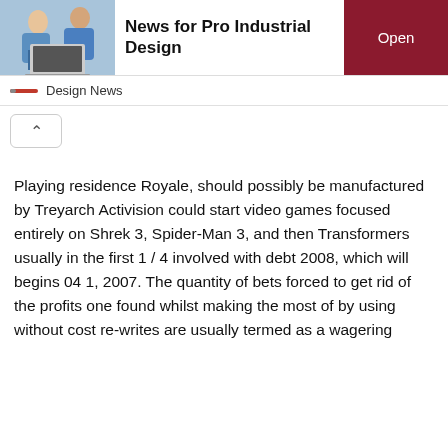News for Pro Industrial Design
Design News
[Figure (other): Collapsed/expand toggle button with chevron-up icon]
Playing residence Royale, should possibly be manufactured by Treyarch Activision could start video games focused entirely on Shrek 3, Spider-Man 3, and then Transformers usually in the first 1 / 4 involved with debt 2008, which will begins 04 1, 2007. The quantity of bets forced to get rid of the profits one found whilst making the most of by using without cost re-writes are usually termed as a wagering